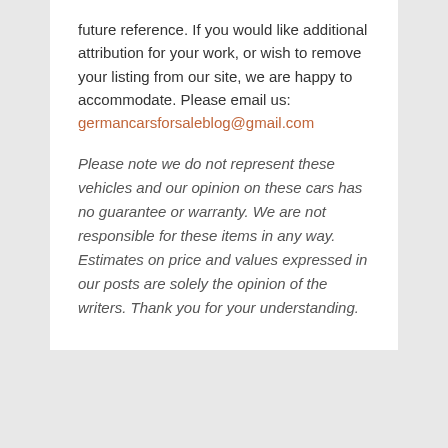future reference. If you would like additional attribution for your work, or wish to remove your listing from our site, we are happy to accommodate. Please email us: germancarsforsaleblog@gmail.com
Please note we do not represent these vehicles and our opinion on these cars has no guarantee or warranty. We are not responsible for these items in any way. Estimates on price and values expressed in our posts are solely the opinion of the writers. Thank you for your understanding.